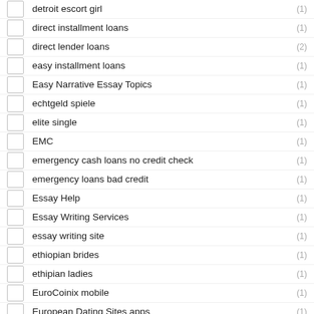detroit escort girl (1)
direct installment loans (1)
direct lender loans (2)
easy installment loans (1)
Easy Narrative Essay Topics (1)
echtgeld spiele (1)
elite single (1)
EMC (1)
emergency cash loans no credit check (1)
emergency loans bad credit (1)
Essay Help (1)
Essay Writing Services (1)
essay writing site (1)
ethiopian brides (1)
ethipian ladies (1)
EuroCoinix mobile (1)
European Dating Sites apps (1)
ez cash loan (1)
ez payday loans (1)